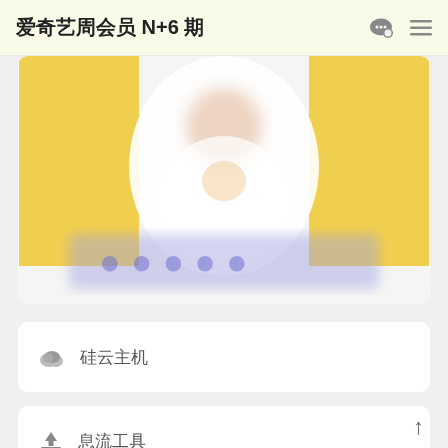爱奇艺周会员 N+6 期
[Figure (photo): Blurred promotional image with yellow background and white character figure, with blurred blue/purple text at the bottom]
硅云主机
息流工具